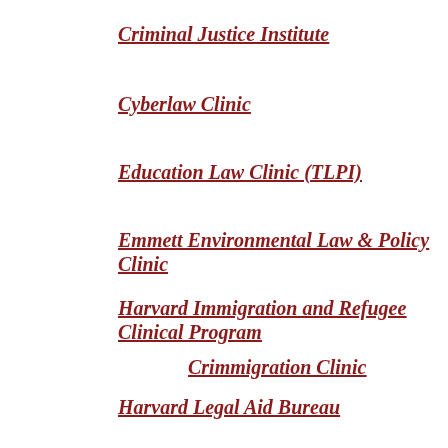Criminal Justice Institute
Cyberlaw Clinic
Education Law Clinic (TLPI)
Emmett Environmental Law & Policy Clinic
Harvard Immigration and Refugee Clinical Program
Crimmigration Clinic
Harvard Legal Aid Bureau
Harvard Negotiation & Mediation Clinical Program
International Human Rights Clinic